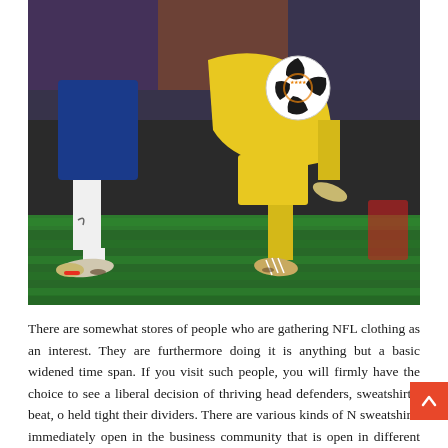[Figure (photo): Action photo of a soccer/football match. A player in a yellow kit is leaping/diving horizontally, controlling or kicking a UEFA Europa League ball. A player in a blue Chelsea kit is in the background. The photo is taken close to the grass pitch level.]
There are somewhat stores of people who are gathering NFL clothing as an interest. They are furthermore doing it is anything but a basic widened time span. If you visit such people, you will firmly have the choice to see a liberal decision of thriving head defenders, sweatshirts, beat, o held tight their dividers. There are various kinds of N sweatshirts immediately open in the business community that is open in different shades, styles correspondingly as